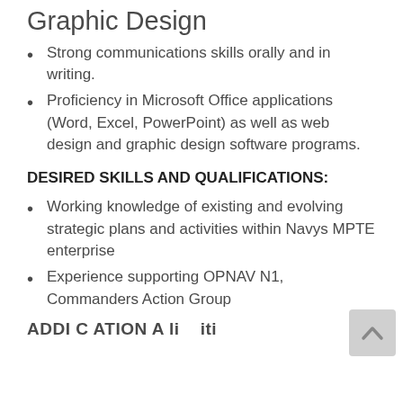Graphic Design
Strong communications skills orally and in writing.
Proficiency in Microsoft Office applications (Word, Excel, PowerPoint) as well as web design and graphic design software programs.
DESIRED SKILLS AND QUALIFICATIONS:
Working knowledge of existing and evolving strategic plans and activities within Navys MPTE enterprise
Experience supporting OPNAV N1, Commanders Action Group
ADDI CATION A li t iti